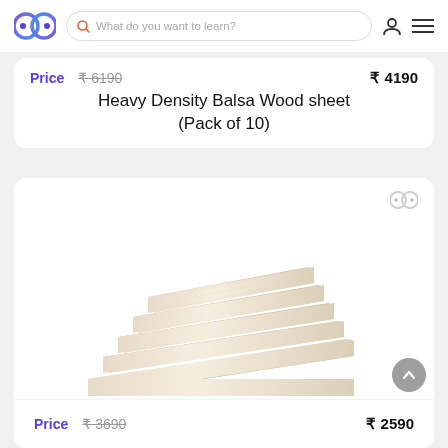[Figure (logo): Infinity loop logo with two eyes (blue/purple gradient circles)]
What do you want to learn?
Price  ₹ 6190  ₹ 4190
Heavy Density Balsa Wood sheet (Pack of 10)
[Figure (photo): Stack of balsa wood sheets arranged in a fan/staircase pattern, light tan/cream color]
Price  ₹ 3690  ₹ 2590